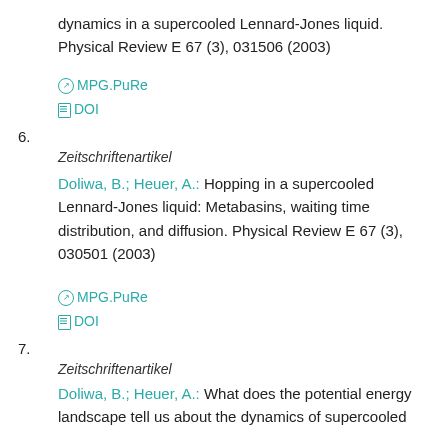dynamics in a supercooled Lennard-Jones liquid. Physical Review E 67 (3), 031506 (2003)
MPG.PuRe
DOI
6.
Zeitschriftenartikel
Doliwa, B.; Heuer, A.: Hopping in a supercooled Lennard-Jones liquid: Metabasins, waiting time distribution, and diffusion. Physical Review E 67 (3), 030501 (2003)
MPG.PuRe
DOI
7.
Zeitschriftenartikel
Doliwa, B.; Heuer, A.: What does the potential energy landscape tell us about the dynamics of supercooled liquids? Physical Review Letters 91 (23),